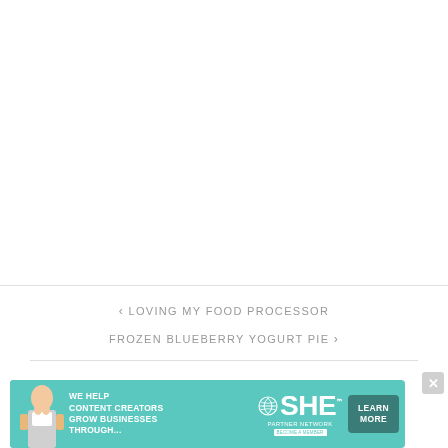< LOVING MY FOOD PROCESSOR
FROZEN BLUEBERRY YOGURT PIE >
[Figure (infographic): SHE Media Partner Network advertisement banner with teal background, showing a woman with laptop, text 'WE HELP CONTENT CREATORS GROW BUSINESSES THROUGH...', SHE logo, and 'LEARN MORE' button]